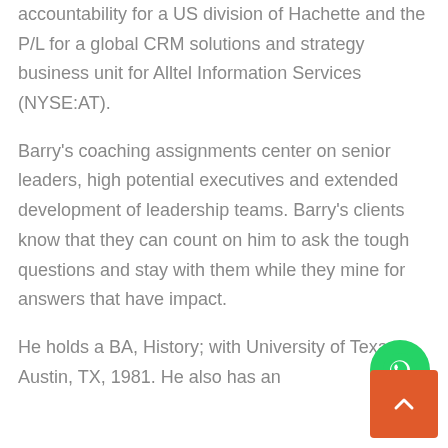accountability for a US division of Hachette and the P/L for a global CRM solutions and strategy business unit for Alltel Information Services (NYSE:AT).
Barry's coaching assignments center on senior leaders, high potential executives and extended development of leadership teams. Barry's clients know that they can count on him to ask the tough questions and stay with them while they mine for answers that have impact.
He holds a BA, History; with University of Texas, Austin, TX, 1981. He also has an